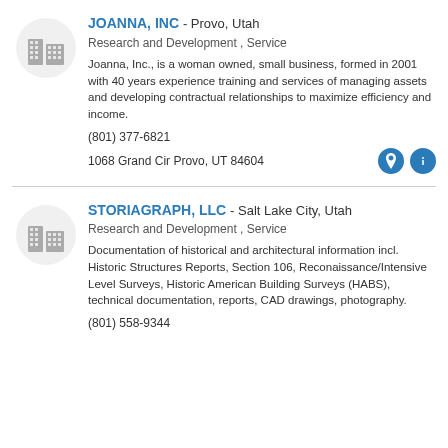JOANNA, INC - Provo, Utah
Research and Development , Service
Joanna, Inc., is a woman owned, small business, formed in 2001 with 40 years experience training and services of managing assets and developing contractual relationships to maximize efficiency and income.
(801) 377-6821
1068 Grand Cir Provo, UT 84604
STORIAGRAPH, LLC - Salt Lake City, Utah
Research and Development , Service
Documentation of historical and architectural information incl. Historic Structures Reports, Section 106, Reconaissance/Intensive Level Surveys, Historic American Building Surveys (HABS), technical documentation, reports, CAD drawings, photography.
(801) 558-9344